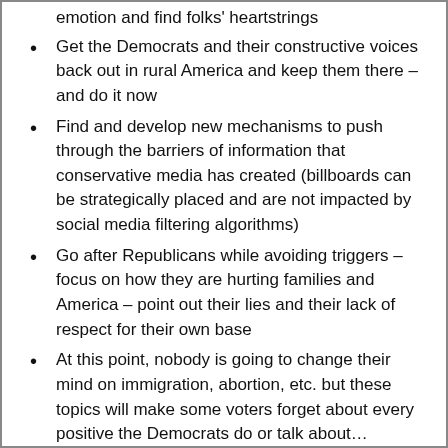emotion and find folks' heartstrings
Get the Democrats and their constructive voices back out in rural America and keep them there – and do it now
Find and develop new mechanisms to push through the barriers of information that conservative media has created (billboards can be strategically placed and are not impacted by social media filtering algorithms)
Go after Republicans while avoiding triggers – focus on how they are hurting families and America – point out their lies and their lack of respect for their own base
At this point, nobody is going to change their mind on immigration, abortion, etc. but these topics will make some voters forget about every positive the Democrats do or talk about…
Do all the above continuously – do not wait for election season. A few sound bites here or there will not undo the non-stop messaging from conservative media, will not